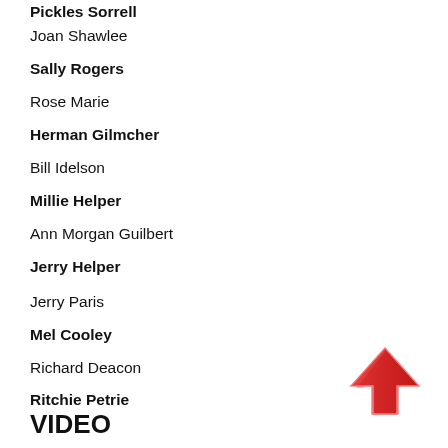Pickles Sorrell
Joan Shawlee
Sally Rogers
Rose Marie
Herman Gilmcher
Bill Idelson
Millie Helper
Ann Morgan Guilbert
Jerry Helper
Jerry Paris
Mel Cooley
Richard Deacon
Ritchie Petrie
Larry Matthews
Stacy Petrie
Jerry Van Dyke
VIDEO
[Figure (illustration): Red upward-pointing arrow icon in bottom right corner]